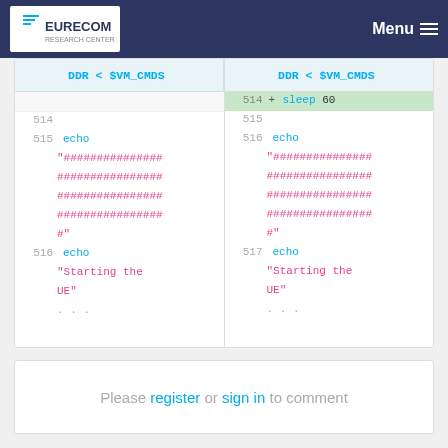EURECOM Menu
[Figure (screenshot): Code diff view showing two panes side by side. Left pane: DDR < $VM_CMDS, lines 514-516 with echo and hash string. Right pane: DDR < $VM_CMDS, line 514 added 'sleep 60', lines 515-517 with echo and hash string. Both panes end with '...' and show 'Starting the UE'.]
Please register or sign in to comment